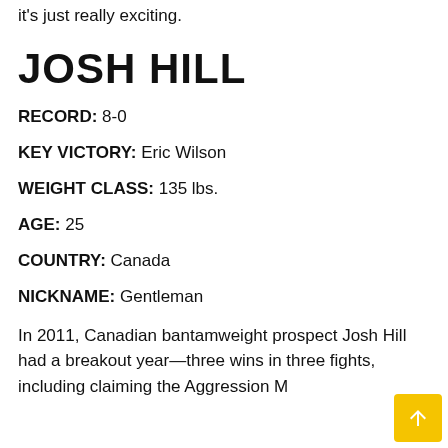it's just really exciting.
JOSH HILL
RECORD: 8-0
KEY VICTORY: Eric Wilson
WEIGHT CLASS: 135 lbs.
AGE: 25
COUNTRY: Canada
NICKNAME: Gentleman
In 2011, Canadian bantamweight prospect Josh Hill had a breakout year—three wins in three fights, including claiming the Aggression M…